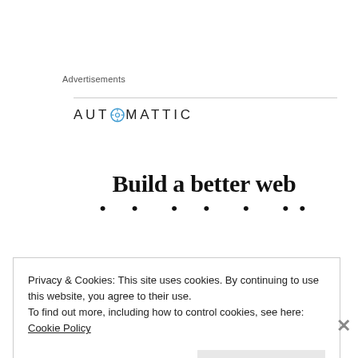Advertisements
[Figure (logo): Automattic logo with compass icon replacing the letter O]
Build a better web
dianefeingold.com
Privacy & Cookies: This site uses cookies. By continuing to use this website, you agree to their use.
To find out more, including how to control cookies, see here: Cookie Policy
Close and accept